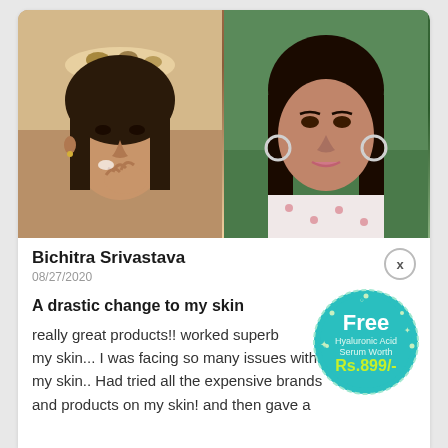[Figure (photo): Two side-by-side photos: left shows a young woman applying skincare product to her face with a leopard-print headband; right shows a woman with long dark hair wearing silver hoop earrings and a patterned top.]
Bichitra Srivastava
08/27/2020
A drastic change to my skin
really great products!! worked superb my skin... I was facing so many issues with my skin.. Had tried all the expensive brands and products on my skin! and then gave a
[Figure (infographic): Teal circular badge with text: Free Hyaluronic Acid Serum Worth Rs.899/-]